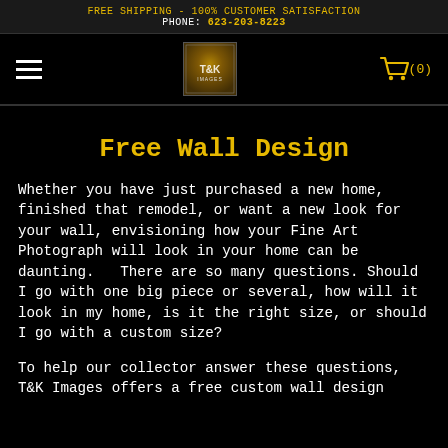FREE SHIPPING - 100% CUSTOMER SATISFACTION
PHONE: 623-203-8223
[Figure (logo): T&K Images logo - small square image with golden/brown texture and T&K IMAGES text]
Free Wall Design
Whether you have just purchased a new home, finished that remodel, or want a new look for your wall, envisioning how your Fine Art Photograph will look in your home can be daunting.   There are so many questions. Should I go with one big piece or several, how will it look in my home, is it the right size, or should I go with a custom size?
To help our collector answer these questions, T&K Images offers a free custom wall design